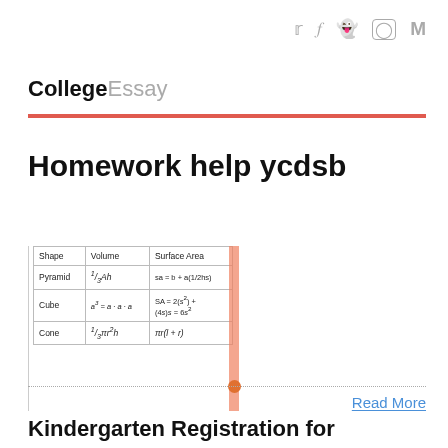𝕏 f 👻 ⊙ M
CollegeEssay
Homework help ycdsb
| Shape | Volume | Surface Area |
| --- | --- | --- |
| Pyramid | 1/3 Ah | sa = b + a(1/2hs) |
| Cube | a³ = a · a · a | SA = 2(s²) + (4s)s = 6s² |
| Cone | 1/3πr²h | πr(l + r) |
Read More
Kindergarten Registration for September Classes is Now Open